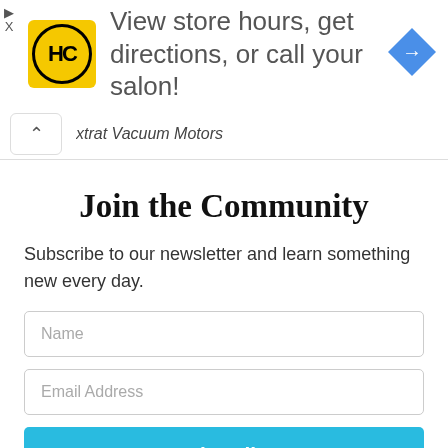[Figure (other): Advertisement banner with HC salon logo on yellow background and navigation arrow icon. Text reads: View store hours, get directions, or call your salon!]
xtrat Vacuum Motors
Join the Community
Subscribe to our newsletter and learn something new every day.
Name
Email Address
Subscribe